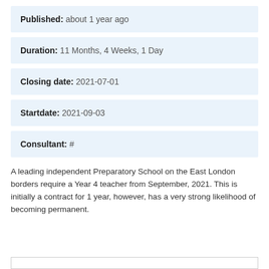Published: about 1 year ago
Duration: 11 Months, 4 Weeks, 1 Day
Closing date: 2021-07-01
Startdate: 2021-09-03
Consultant: #
A leading independent Preparatory School on the East London borders require a Year 4 teacher from September, 2021. This is initially a contract for 1 year, however, has a very strong likelihood of becoming permanent.